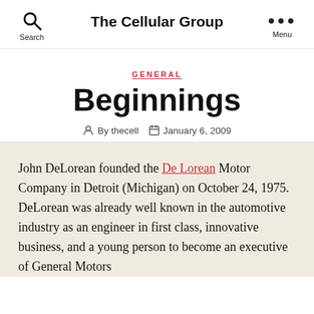The Cellular Group
GENERAL
Beginnings
By thecell   January 6, 2009
John DeLorean founded the De Lorean Motor Company in Detroit (Michigan) on October 24, 1975. DeLorean was already well known in the automotive industry as an engineer in first class, innovative business, and a young person to become an executive of General Motors